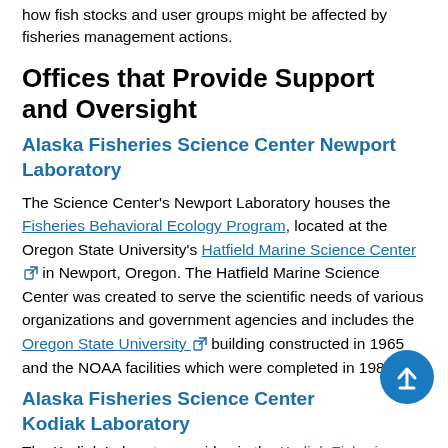how fish stocks and user groups might be affected by fisheries management actions.
Offices that Provide Support and Oversight
Alaska Fisheries Science Center Newport Laboratory
The Science Center's Newport Laboratory houses the Fisheries Behavioral Ecology Program, located at the Oregon State University's Hatfield Marine Science Center [external link] in Newport, Oregon. The Hatfield Marine Science Center was created to serve the scientific needs of various organizations and government agencies and includes the Oregon State University [external link] building constructed in 1965 and the NOAA facilities which were completed in 1981.
Alaska Fisheries Science Center Kodiak Laboratory
The Kodiak Laboratory resides in the Kodiak Fisheries